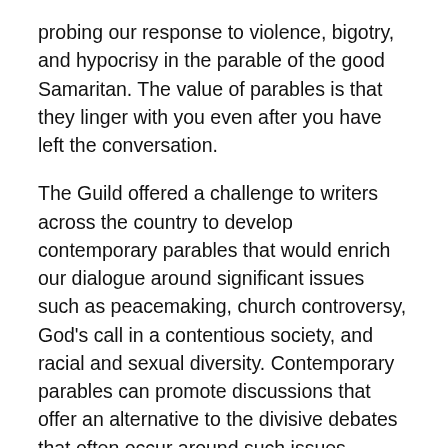probing our response to violence, bigotry, and hypocrisy in the parable of the good Samaritan. The value of parables is that they linger with you even after you have left the conversation.
The Guild offered a challenge to writers across the country to develop contemporary parables that would enrich our dialogue around significant issues such as peacemaking, church controversy, God’s call in a contentious society, and racial and sexual diversity. Contemporary parables can promote discussions that offer an alternative to the divisive debates that often occur around such issues.
Here’s how you can make the most of these stories:
Reflect deeply on the issues addressed, and allow the Spirit to inspire you to new understandings.